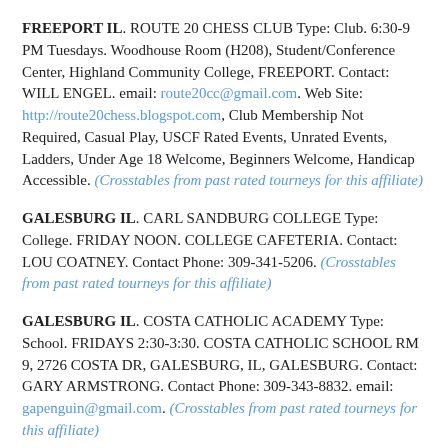FREEPORT IL. ROUTE 20 CHESS CLUB Type: Club. 6:30-9 PM Tuesdays. Woodhouse Room (H208), Student/Conference Center, Highland Community College, FREEPORT. Contact: WILL ENGEL. email: route20cc@gmail.com. Web Site: http://route20chess.blogspot.com, Club Membership Not Required, Casual Play, USCF Rated Events, Unrated Events, Ladders, Under Age 18 Welcome, Beginners Welcome, Handicap Accessible. (Crosstables from past rated tourneys for this affiliate)
GALESBURG IL. CARL SANDBURG COLLEGE Type: College. FRIDAY NOON. COLLEGE CAFETERIA. Contact: LOU COATNEY. Contact Phone: 309-341-5206. (Crosstables from past rated tourneys for this affiliate)
GALESBURG IL. COSTA CATHOLIC ACADEMY Type: School. FRIDAYS 2:30-3:30. COSTA CATHOLIC SCHOOL RM 9, 2726 COSTA DR, GALESBURG, IL, GALESBURG. Contact: GARY ARMSTRONG. Contact Phone: 309-343-8832. email: gapenguin@gmail.com. (Crosstables from past rated tourneys for this affiliate)
GLENWOOD IL. GLENWOOD CHESS CLUB Type: Club. 4:30pm-8pm. The Blakey Center, 1 Rebecca St, Glenwood, IL 60425, GLENWOOD. Contact: KENNETH WINDMON.